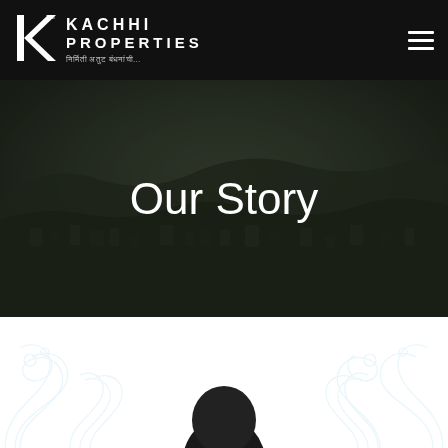[Figure (logo): Kachhi Properties logo with K icon in white on black background]
Our Story
[Figure (photo): Aerial/elevated cityscape view with dense residential buildings on hillside, dark moody overlay — hero banner background]
[Figure (photo): Portrait photo (head and shoulders) of a person in dark clothing, partially visible at bottom of page, with decorative blue floral/scroll watermark pattern in background]